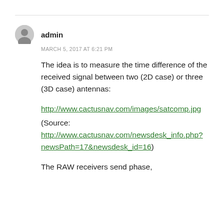admin
MARCH 5, 2017 AT 6:21 PM
The idea is to measure the time difference of the received signal between two (2D case) or three (3D case) antennas:
http://www.cactusnav.com/images/satcomp.jpg
(Source: http://www.cactusnav.com/newsdesk_info.php?newsPath=17&newsdesk_id=16)
The RAW receivers send phase,